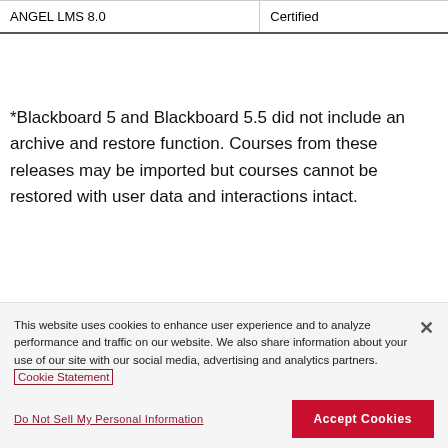|  |  |
| --- | --- |
| ANGEL LMS 8.0 | Certified |
*Blackboard 5 and Blackboard 5.5 did not include an archive and restore function. Courses from these releases may be imported but courses cannot be restored with user data and interactions intact.
This website uses cookies to enhance user experience and to analyze performance and traffic on our website. We also share information about your use of our site with our social media, advertising and analytics partners. Cookie Statement
Do Not Sell My Personal Information | Accept Cookies